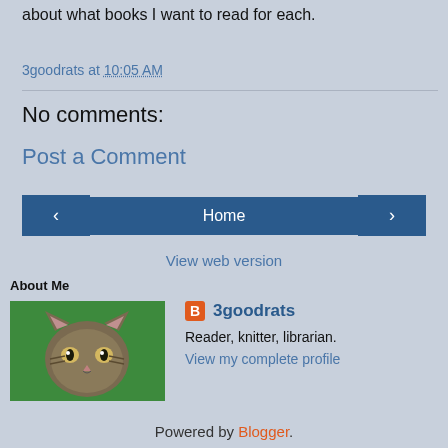about what books I want to read for each.
3goodrats at 10:05 AM
No comments:
Post a Comment
< Home >
View web version
About Me
3goodrats
Reader, knitter, librarian.
View my complete profile
Powered by Blogger.